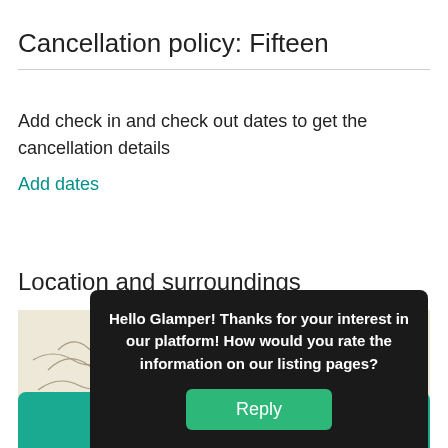Cancellation policy: Fifteen
Add check in and check out dates to get the cancellation details
Add dates
Location and surroundings
[Figure (map): Map showing terrain/location with a teal marker pin and Sunfair label, with a dark chevron button overlay]
Hello Glamper! Thanks for your interest in our platform! How would you rate the information on our listing pages?
Reply